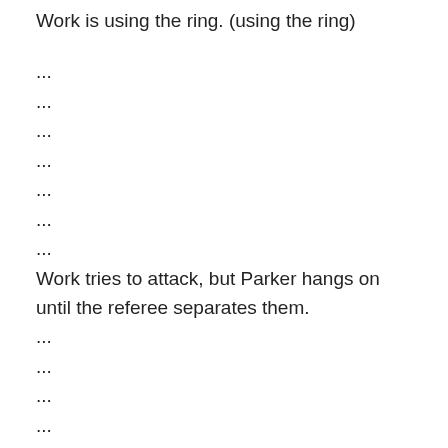Work is using the ring. (using the ring)
...
...
...
...
...
...
...
Work tries to attack, but Parker hangs on until the referee separates them.
...
...
...
...
...
-Work lashes out with a series of punches to the solar plexus, but misses completely.
Work tries to attack, but Parker hangs on until the referee